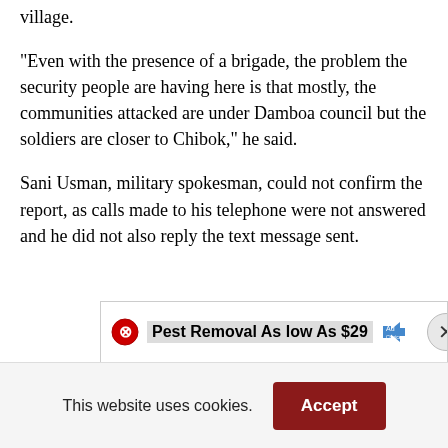village.
“Even with the presence of a brigade, the problem the security people are having here is that mostly, the communities attacked are under Damboa council but the soldiers are closer to Chibok,” he said.
Sani Usman, military spokesman, could not confirm the report, as calls made to his telephone were not answered and he did not also reply the text message sent.
[Figure (other): Advertisement banner: Pest Removal As low As $29 with close button]
This website uses cookies.
Accept